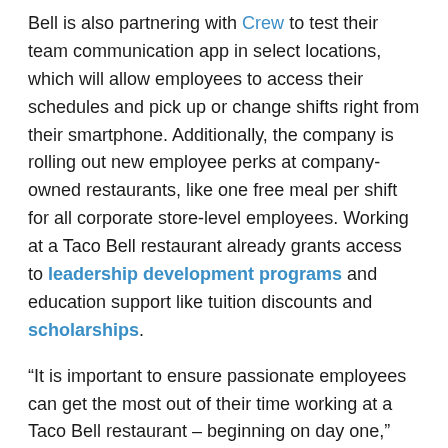Bell is also partnering with Crew to test their team communication app in select locations, which will allow employees to access their schedules and pick up or change shifts right from their smartphone. Additionally, the company is rolling out new employee perks at company-owned restaurants, like one free meal per shift for all corporate store-level employees. Working at a Taco Bell restaurant already grants access to leadership development programs and education support like tuition discounts and scholarships.
“It is important to ensure passionate employees can get the most out of their time working at a Taco Bell restaurant – beginning on day one,” said Bjorn Erland, Vice President of People and Experience, Taco Bell Corp. “Whether you start in a Taco Bell restaurant as a seasonal team member or stay for a decades-long career, everyone should be able to pursue their personal, professional and educational passions.”
This year’s Hiring Parties follow a successful pilot in Indianapolis last year, and are part of Taco